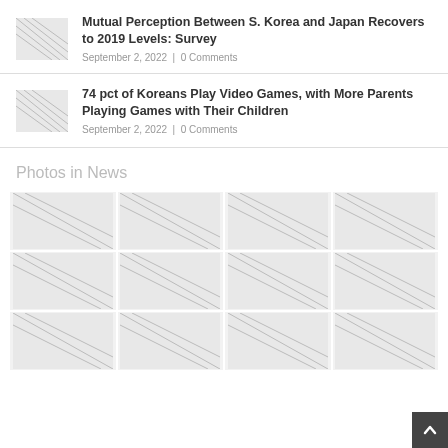Mutual Perception Between S. Korea and Japan Recovers to 2019 Levels: Survey
September 2, 2022 | 0 Comments
74 pct of Koreans Play Video Games, with More Parents Playing Games with Their Children
September 2, 2022 | 0 Comments
Photos in News
[Figure (photo): Grid of 12 placeholder thumbnail images arranged in 4 columns and 3 rows]
[Figure (other): Back-to-top button (dark square with up arrow) in bottom-right corner]